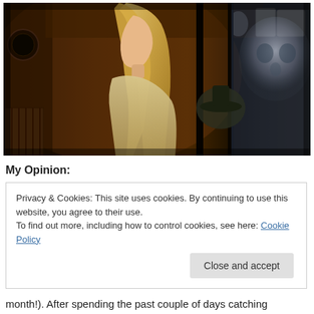[Figure (photo): A woman with long blonde hair standing in a dimly lit room that appears to be an old kitchen or storage area, with shelves, pots, and other items visible. There is a dark vertical divider in the middle and a blurred ghostly figure visible on the right side behind glass or a door.]
My Opinion:
Privacy & Cookies: This site uses cookies. By continuing to use this website, you agree to their use.
To find out more, including how to control cookies, see here: Cookie Policy
Close and accept
month!). After spending the past couple of days catching